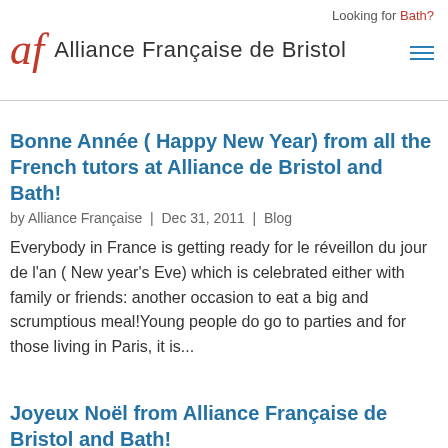Looking for Bath?
Alliance Française de Bristol
Bonne Année ( Happy New Year) from all the French tutors at Alliance de Bristol and Bath!
by Alliance Française | Dec 31, 2011 | Blog
Everybody in France is getting ready for le réveillon du jour de l'an ( New year's Eve) which is celebrated either with family or friends: another occasion to eat a big and scrumptious meal!Young people do go to parties and for those living in Paris, it is...
Joyeux Noël from Alliance Française de Bristol and Bath!
by Alliance Française | Dec 23, 2011 | Blog